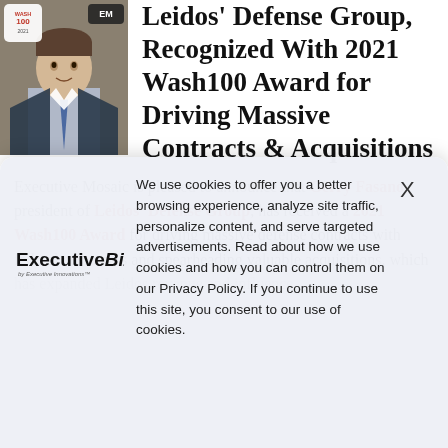[Figure (photo): Headshot of Gerry Fasano in suit and tie with Wash100 2021 and Executive Mosaic badge logos overlaid on photo]
Leidos' Defense Group, Recognized With 2021 Wash100 Award for Driving Massive Contracts & Acquisitions
Executive Mosaic is pleased to announce that Gerry Fasano, president of Leidos' Defense Group, has received a 2021 Wash100 Award for driving massive defense contracts with federal customers and spearheading valuable acquisitions, which has expanded Leidos revenue and influence
We use cookies to offer you a better browsing experience, analyze site traffic, personalize content, and serve targeted advertisements. Read about how we use cookies and how you can control them on our Privacy Policy. If you continue to use this site, you consent to our use of cookies.